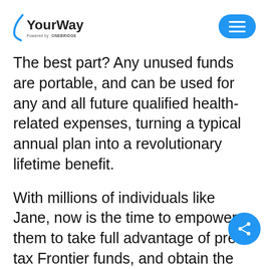[Figure (logo): YourWay logo with 'Powered by ONEBRIDGE' tagline and hamburger menu button]
The best part? Any unused funds are portable, and can be used for any and all future qualified health-related expenses, turning a typical annual plan into a revolutionary lifetime benefit.
With millions of individuals like Jane, now is the time to empower them to take full advantage of pre-tax Frontier funds, and obtain the coverages that best fit their